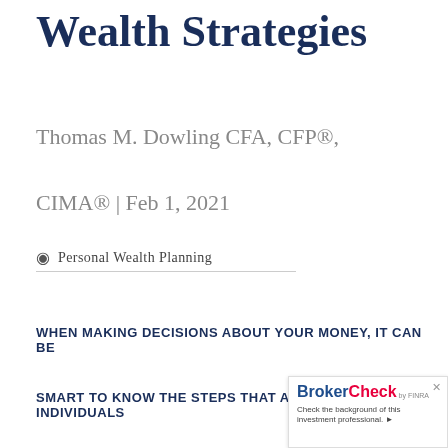Wealth Strategies
Thomas M. Dowling CFA, CFP®, CIMA® | Feb 1, 2021
Personal Wealth Planning
WHEN MAKING DECISIONS ABOUT YOUR MONEY, IT CAN BE
SMART TO KNOW THE STEPS THAT AFFLUENT INDIVIDUALS
[Figure (logo): BrokerCheck by FINRA widget with text: Check the background of this investment professional.]